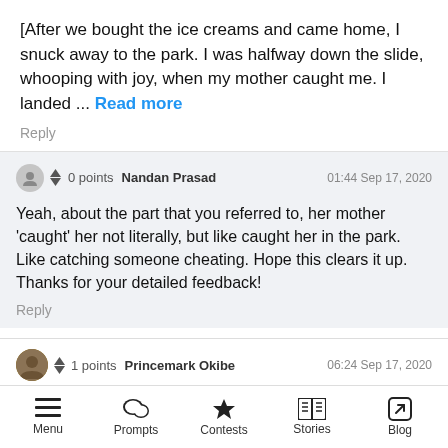[After we bought the ice creams and came home, I snuck away to the park. I was halfway down the slide, whooping with joy, when my mother caught me. I landed ... Read more
Reply
0 points  Nandan Prasad  01:44 Sep 17, 2020
Yeah, about the part that you referred to, her mother 'caught' her not literally, but like caught her in the park. Like catching someone cheating. Hope this clears it up.
Thanks for your detailed feedback!
Reply
1 points  Princemark Okibe  06:24 Sep 17, 2020
Menu  Prompts  Contests  Stories  Blog